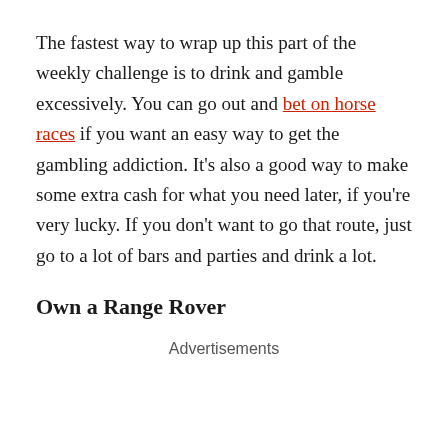The fastest way to wrap up this part of the weekly challenge is to drink and gamble excessively. You can go out and bet on horse races if you want an easy way to get the gambling addiction. It's also a good way to make some extra cash for what you need later, if you're very lucky. If you don't want to go that route, just go to a lot of bars and parties and drink a lot.
Own a Range Rover
Advertisements
And once you've done all of that, you need to head for the full basic white woman energy. Buy a Range Rover via the Assets tab. Use the "Go Shopping" option within that menu for a car